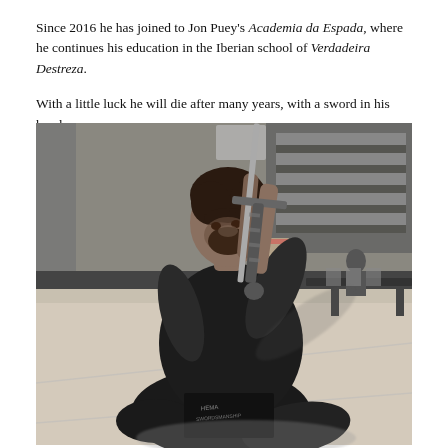Since 2016 he has joined to Jon Puey's Academia da Espada, where he continues his education in the Iberian school of Verdadeira Destreza.
With a little luck he will die after many years, with a sword in his hand.
[Figure (photo): Black and white photograph of a man in a black t-shirt practicing sword fighting in a gymnasium, holding a sword raised behind his head in a low crouching stance. Background shows gym equipment and another person seated.]